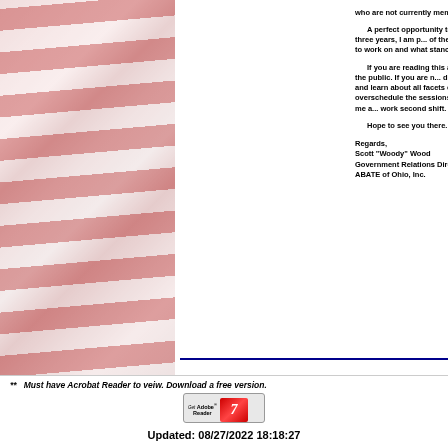[Figure (illustration): American flag background image, faded red, white tones, rotated/angled stripes, occupying left column of page]
who are not currently members and let them give. A perfect opportunity to help mold organiz... details. Similar to the past three years, I am p... of the Minds every year. It is a round table gr... going to work on and what stance we are goin... If you are reading this and you are not a mo... Ohio events, is open to the public. If you are n... discuss not only legislative issues. We also talk... and learn about all facets of the organization ... attempt to not overschedule the sessions this y... important. If you have any questions for me a... work second shift. If I do not answer leave a m... Hope to see you there. Regards, Scott "Woody" Wood Government Relations Director ABATE of Ohio, Inc.
**  Must have Acrobat Reader to veiw. Download a free version.
[Figure (logo): Get Adobe Reader badge/button with red swoosh logo]
Updated: 08/27/2022 18:18:27